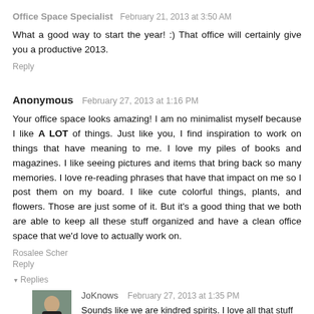Office Space Specialist  February 21, 2013 at 3:50 AM
What a good way to start the year! :) That office will certainly give you a productive 2013.
Reply
Anonymous  February 27, 2013 at 1:16 PM
Your office space looks amazing! I am no minimalist myself because I like A LOT of things. Just like you, I find inspiration to work on things that have meaning to me. I love my piles of books and magazines. I like seeing pictures and items that bring back so many memories. I love re-reading phrases that have that impact on me so I post them on my board. I like cute colorful things, plants, and flowers. Those are just some of it. But it's a good thing that we both are able to keep all these stuff organized and have a clean office space that we'd love to actually work on.
Rosalee Scher
Reply
▾ Replies
JoKnows  February 27, 2013 at 1:35 PM
Sounds like we are kindred spirits. I love all that stuff